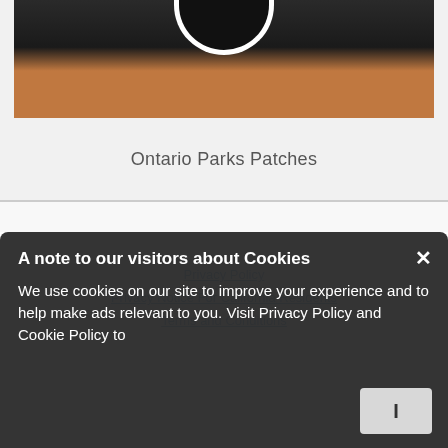[Figure (photo): Partial photo of an Ontario Parks patch/badge on a wooden surface — dark circular badge with white border visible at top]
Ontario Parks Patches
Privacy Policy
Privacy Notice For California Residents
Terms and Conditions
A note to our visitors about Cookies
We use cookies on our site to improve your experience and to help make ads relevant to you. Visit Privacy Policy and Cookie Policy to